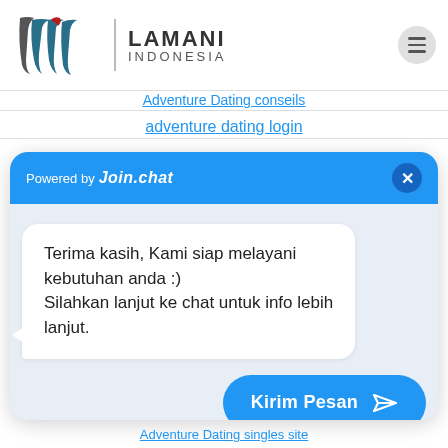[Figure (logo): Lamani Indonesia logo with stylized 'lw' mark in dark grey and teal/blue, with a red accent, next to vertical divider and text 'LAMANI INDONESIA']
Adventure Dating conseils
adventure dating login
[Figure (screenshot): Join.chat widget with blue header showing 'Powered by Join.chat', a close X button, a white message bubble saying 'Terima kasih, Kami siap melayani kebutuhan anda :) Silahkan lanjut ke chat untuk info lebih lanjut.', and a blue 'Kirim Pesan' send button with arrow icon]
Adventure Dating singles site